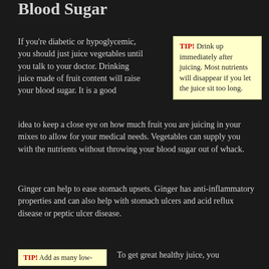Blood Sugar
If you're diabetic or hypoglycemic, you should just juice vegetables until you talk to your doctor. Drinking juice made of fruit content will raise your blood sugar. It is a good idea to keep a close eye on how much fruit you are juicing in your mixes to allow for your medical needs. Vegetables can supply you with the nutrients without throwing your blood sugar out of whack.
TIP! Drink up immediately after juicing. Most nutrients will disappear if you let the juice sit too long.
Ginger can help to ease stomach upsets. Ginger has anti-inflammatory properties and can also help with stomach ulcers and acid reflux disease or peptic ulcer disease.
TIP! Add as many low-
To get great healthy juice, you